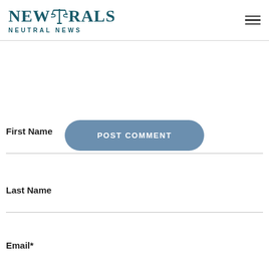NEUTRALS NEUTRAL NEWS
POST COMMENT
First Name
Last Name
Email*